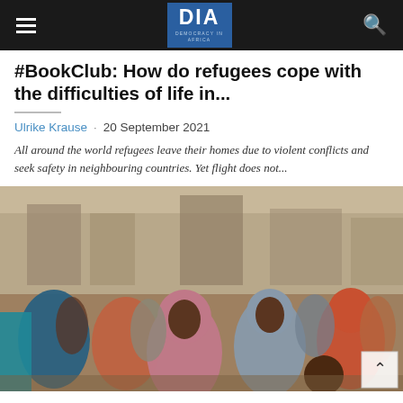DIA — Democracy in Africa navigation bar
#BookClub: How do refugees cope with the difficulties of life in...
Ulrike Krause  ·  20 September 2021
All around the world refugees leave their homes due to violent conflicts and seek safety in neighbouring countries. Yet flight does not...
[Figure (photo): A crowd of people, several women wearing colourful hijabs, standing in an outdoor urban setting.]